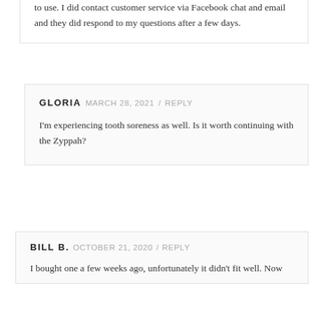to use. I did contact customer service via Facebook chat and email and they did respond to my questions after a few days.
GLORIA  MARCH 28, 2021 / REPLY
I'm experiencing tooth soreness as well. Is it worth continuing with the Zyppah?
BILL B.  OCTOBER 21, 2020 / REPLY
I bought one a few weeks ago, unfortunately it didn't fit well. Now